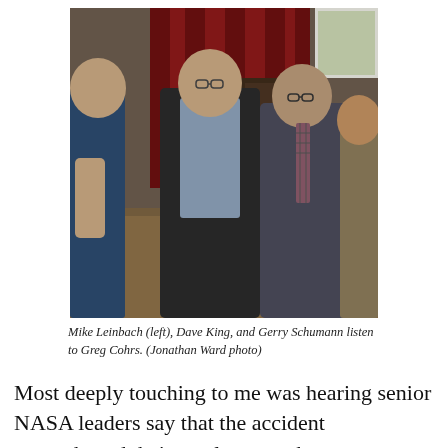[Figure (photo): A group of men at a NASA event. From left: Mike Leinbach, Dave King, and Gerry Schumann listening to Greg Cohrs. A NASA logo is visible on a podium in the background, with red curtains behind them.]
Mike Leinbach (left), Dave King, and Gerry Schumann listen to Greg Cohrs. (Jonathan Ward photo)
Most deeply touching to me was hearing senior NASA leaders say that the accident strengthened their resolve to make sure everyone has a voice and to speak up whenever